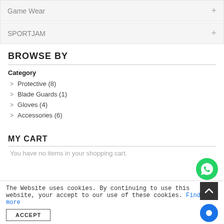Game Wear +
SPORTJAM +
BROWSE BY
Category
Protective (8)
Blade Guards (1)
Gloves (4)
Accessories (6)
MY CART
You have no items in your shopping cart.
The Website uses cookies. By continuing to use this website, your accept our use of these cookies. Find out more
ACCEPT